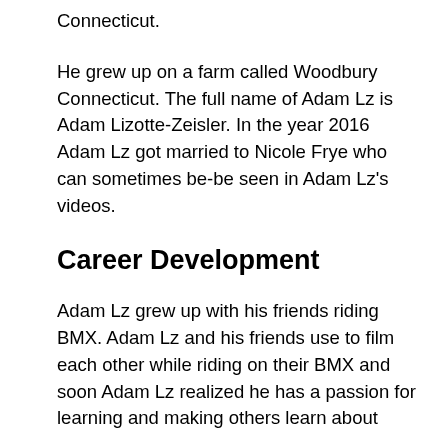Connecticut.
He grew up on a farm called Woodbury Connecticut. The full name of Adam Lz is Adam Lizotte-Zeisler. In the year 2016 Adam Lz got married to Nicole Frye who can sometimes be-be seen in Adam Lz's videos.
Career Development
Adam Lz grew up with his friends riding BMX. Adam Lz and his friends use to film each other while riding on their BMX and soon Adam Lz realized he has a passion for learning and making others learn about